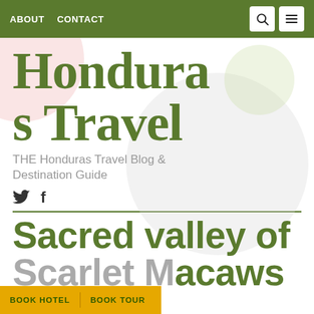ABOUT  CONTACT
Honduras Travel
THE Honduras Travel Blog & Destination Guide
🐦 f
Sacred valley of Scarlet Macaws
BOOK HOTEL   BOOK TOUR